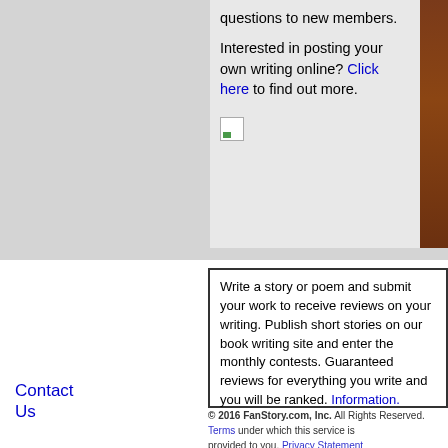questions to new members. Interested in posting your own writing online? Click here to find out more.
[Figure (illustration): Broken image placeholder icon (small white box with green triangle)]
[Figure (illustration): Brown figure/person cropped on right edge of top section]
Write a story or poem and submit your work to receive reviews on your writing. Publish short stories on our book writing site and enter the monthly contests. Guaranteed reviews for everything you write and you will be ranked. Information.
Contact Us
© 2016 FanStory.com, Inc. All Rights Reserved. Terms under which this service is provided to you. Privacy Statement.